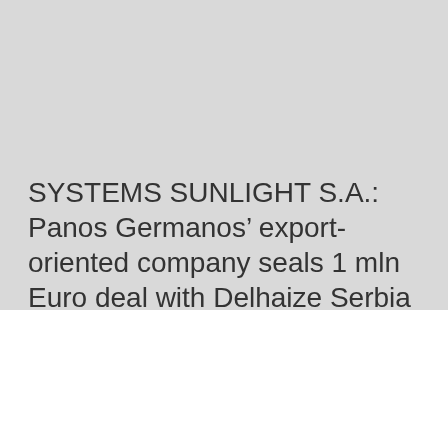SYSTEMS SUNLIGHT S.A.: Panos Germanos’ export-oriented company seals 1 mln Euro deal with Delhaize Serbia